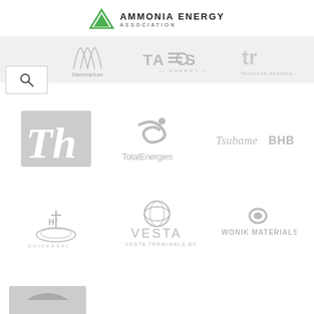AMMONIA ENERGY ASSOCIATION
[Figure (logo): Stamicarbon logo in nav bar]
[Figure (logo): TAEOS ENERGY logo in nav bar]
[Figure (logo): TECNICAS REUNIDAS logo in nav bar]
[Figure (logo): Th (Thyssenkrupp) logo]
[Figure (logo): TotalEnergies logo]
[Figure (logo): Tsubame BHB logo]
[Figure (logo): Universal H2 logo]
[Figure (logo): VESTA TERMINALS BV logo]
[Figure (logo): WONIK MATERIALS logo]
[Figure (logo): Partially visible logo at bottom]